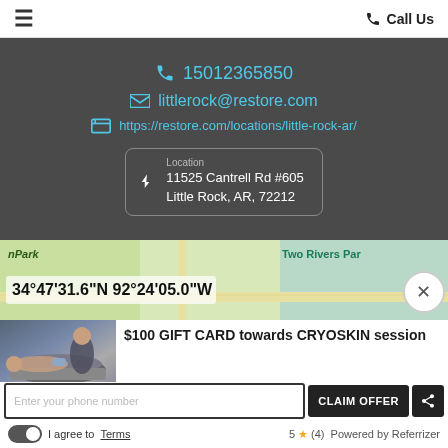≡   Call Us
15012365850
littlerock@restore.com
https://restore.com/locations/little-rock-ar/
Location
11525 Cantrell Rd #605
Little Rock, AR, 72212
[Figure (map): Map showing coordinates 34°47'31.6"N 92°24'05.0"W near Little Rock, AR with park labels. Close button visible.]
[Figure (photo): Photo of a person lying down receiving a cryoskin treatment from a practitioner with a handheld device.]
$100 GIFT CARD towards CRYOSKIN session
Expires in 46 days
Available 8
Enter your phone number
CLAIM OFFER
I agree to Terms
5 ★ (4)  Powered by Referrizer